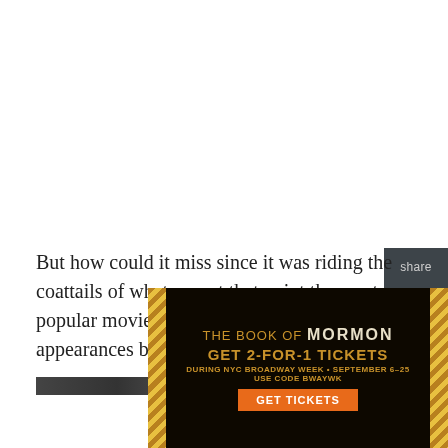[Figure (screenshot): White blank area at top of page, representing content above the fold]
But how could it miss since it was riding the coattails of what was at that point the most popular movie of all time and featured appearances by cast members including
[Figure (photo): Partial photo strip visible at bottom, dark image]
[Figure (screenshot): Share sidebar with Twitter and Facebook icons on dark gray background]
[Figure (advertisement): The Book of Mormon advertisement. GET 2-FOR-1 TICKETS DURING NYC BROADWAY WEEK SEPTEMBER 6-25 USE CODE BWAYWK GET TICKETS]